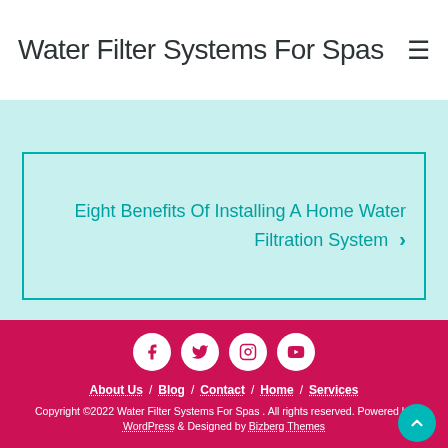Water Filter Systems For Spas
Eight Benefits Of Installing A Home Water Filtration System
About Us / Blog / Contact / Home / Services
Copyright ©2022 Water Filter Systems For Spas . All rights reserved. Powered by WordPress & Designed by Bizberg Themes